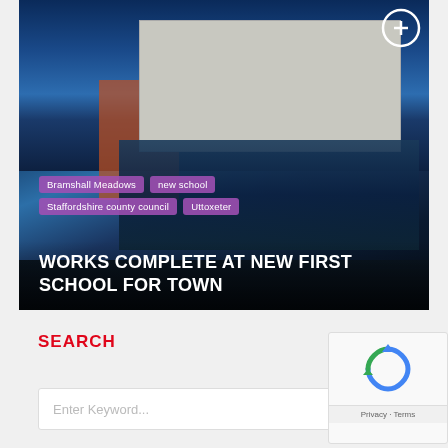[Figure (photo): Photograph of a modern school building (Bramshall Meadows) with a pale facade and glass frontage against a deep blue sky, with tags overlaid: 'Bramshall Meadows', 'new school', 'Staffordshire county council', 'Uttoxeter', and headline 'WORKS COMPLETE AT NEW FIRST SCHOOL FOR TOWN']
WORKS COMPLETE AT NEW FIRST SCHOOL FOR TOWN
SEARCH
Enter Keyword...